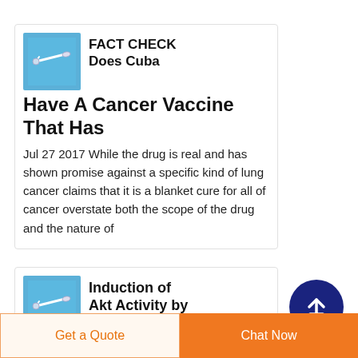FACT CHECK Does Cuba Have A Cancer Vaccine That Has
Jul 27 2017  While the drug is real and has shown promise against a specific kind of lung cancer claims that it is a blanket cure for all of cancer overstate both the scope of the drug and the nature of
[Figure (photo): Thumbnail image showing a medical device/syringe on blue background]
Induction of Akt Activity by
[Figure (photo): Thumbnail image showing a medical device/syringe on blue background]
[Figure (other): Back to top arrow button, dark navy circle with white upward arrow]
Get a Quote   Chat Now